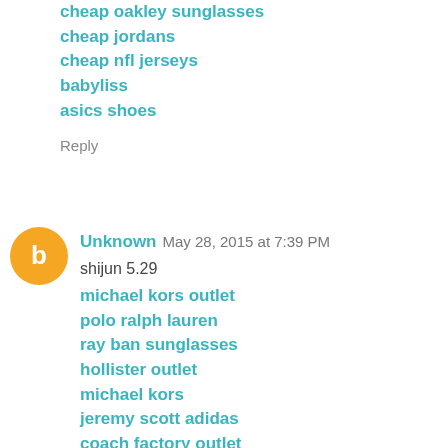cheap oakley sunglasses
cheap jordans
cheap nfl jerseys
babyliss
asics shoes
Reply
Unknown  May 28, 2015 at 7:39 PM
shijun 5.29
michael kors outlet
polo ralph lauren
ray ban sunglasses
hollister outlet
michael kors
jeremy scott adidas
coach factory outlet
nba jerseys
michael kors handbags
fitflops
jordan 11